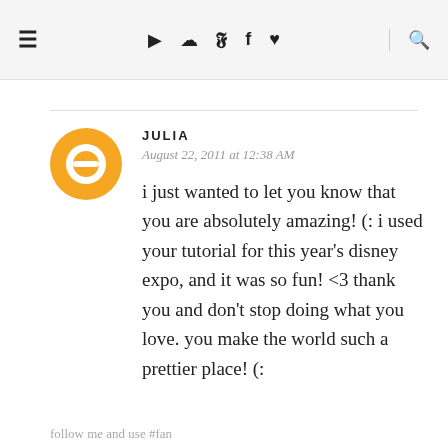≡  ▶ 📷 🐦 f ♥  🔍
JULIA
August 22, 2011 at 12:38 AM
i just wanted to let you know that you are absolutely amazing! (: i used your tutorial for this year's disney expo, and it was so fun! <3 thank you and don't stop doing what you love. you make the world such a prettier place! (: